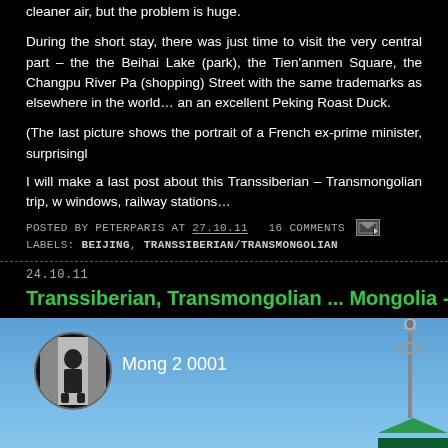cleaner air, but the problem is huge.
During the short stay, there was just time to visit the very central part – the the Beihai Lake (park), the Tien'anmen Square, the Changpu River Pa (shopping) Street with the same trademarks as elsewhere in the world… an an excellent Peking Roast Duck.
(The last picture shows the portrait of a French ex-prime minister, surprisingl
I will make a last post about this Transsiberian – Transmongolian trip, w windows, railway stations…
POSTED BY PETERPARIS AT 27.10.11  16 COMMENTS
LABELS: BEIJING, TRANSSIBERIAN/TRANSMONGOLIAN
24.10.11
Transsiberian, Transmongolian ... Mongolia - part 2
[Figure (photo): Photo thumbnail showing a person silhouette in a circular avatar frame, with label 'Mong 2 0001', against a blue sky background with a tower/building structure at the right edge]